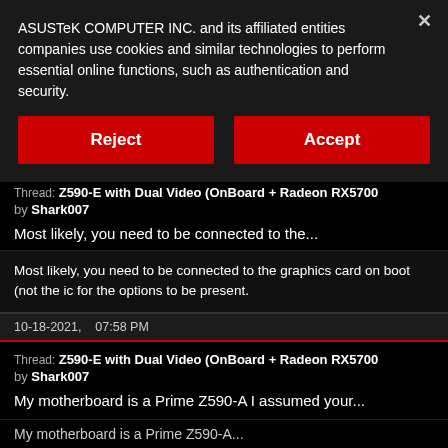ASUSTeK COMPUTER INC. and its affiliated entities companies use cookies and similar technologies to perform essential online functions, such as authentication and security.
[Figure (screenshot): Cookie consent banner with Reject and Accept buttons on dark background]
Thread: Z590-E with Dual Video (OnBoard + Radeon RX5700
by Shark007
Most likely, you need to be connected to the...
Most likely, you need to be connected to the graphics card on boot (not the ic for the options to be present.
10-18-2021,    07:58 PM
Thread: Z590-E with Dual Video (OnBoard + Radeon RX5700
by Shark007
My motherboard is a Prime Z590-A I assumed your...
My motherboard is a Prime Z590-A...